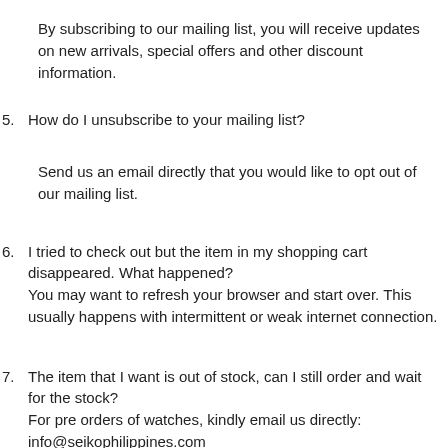By subscribing to our mailing list, you will receive updates on new arrivals, special offers and other discount information.
5. How do I unsubscribe to your mailing list?
Send us an email directly that you would like to opt out of our mailing list.
6. I tried to check out but the item in my shopping cart disappeared. What happened?
You may want to refresh your browser and start over. This usually happens with intermittent or weak internet connection.
7. The item that I want is out of stock, can I still order and wait for the stock?
For pre orders of watches, kindly email us directly:
info@seikophilippines.com